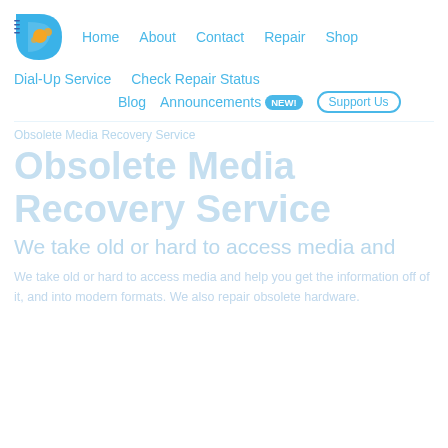[Figure (logo): Blue and orange circular logo with a disc/D shape and orange dots]
Home  About  Contact  Repair  Shop
Dial-Up Service  Check Repair Status
Blog  Announcements NEW!  Support Us
Obsolete Media Recovery Service
We take old or hard to access media and
We take old or hard to access media and help you get the information off of it, and into modern formats. We also repair obsolete hardware.